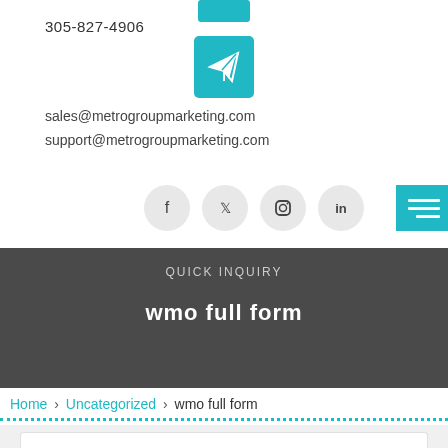305-827-4906
[Figure (logo): Teal paper airplane / send icon in a teal rounded square button]
sales@metrogroupmarketing.com
support@metrogroupmarketing.com
[Figure (infographic): Four social media icons in gray circles: Facebook (f), Twitter (bird), Instagram (camera), LinkedIn (in)]
[Figure (infographic): Teal hamburger menu icon button (three horizontal white lines on teal background)]
QUICK INQUIRY
wmo full form
Home > Uncategorized > wmo full form